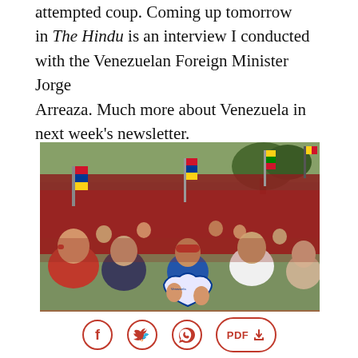attempted coup. Coming up tomorrow in The Hindu is an interview I conducted with the Venezuelan Foreign Minister Jorge Arreaza. Much more about Venezuela in next week's newsletter.
[Figure (photo): A large crowd of people at a political rally in Venezuela, many wearing red caps and shirts, waving flags including Venezuelan and other flags. A woman in the center holds a heart-shaped sign with a photo of Maduro and other political imagery.]
Social sharing icons: Facebook, Twitter, WhatsApp, PDF download